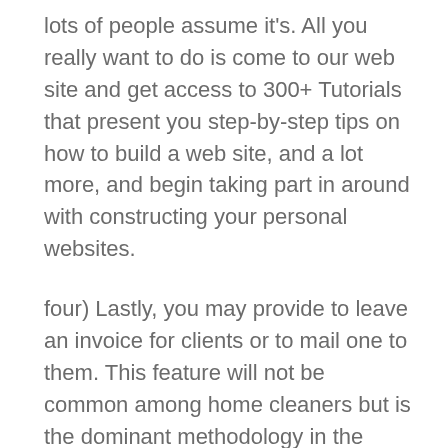lots of people assume it's. All you really want to do is come to our web site and get access to 300+ Tutorials that present you step-by-step tips on how to build a web site, and a lot more, and begin taking part in around with constructing your personal websites.
four) Lastly, you may provide to leave an invoice for clients or to mail one to them. This feature will not be common among home cleaners but is the dominant methodology in the industrial sector of the cleaning trade. Invoices usually supply clients extra favorable cost phrases with most of them requiring fees to be paid inside a thirty day period. This methodology could be very attractive to shoppers as they will pay in arrears but can provide cleaning business house owners complications if invoices become overdue and time and money need to be wasted pursuing dangerous debts.